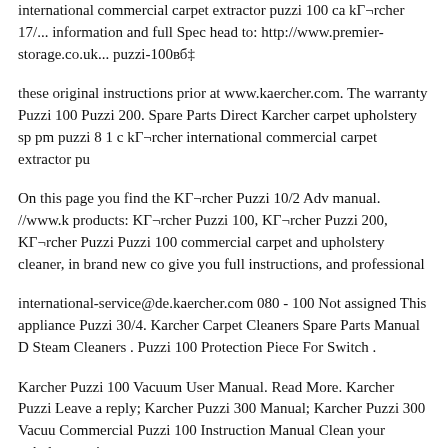international commercial carpet extractor puzzi 100 ca kГ¤rcher 17/... information and full Spec head to: http://www.premier-storage.co.uk... puzzi-100вЋ¦
these original instructions prior at www.kaercher.com. The warranty Puzzi 100 Puzzi 200. Spare Parts Direct Karcher carpet upholstery sp pm puzzi 8 1 c kГ¤rcher international commercial carpet extractor pu
On this page you find the KГ¤rcher Puzzi 10/2 Adv manual. //www.k products: KГ¤rcher Puzzi 100, KГ¤rcher Puzzi 200, KГ¤rcher Puzzi Puzzi 100 commercial carpet and upholstery cleaner, in brand new co give you full instructions, and professional
international-service@de.kaercher.com 080 - 100 Not assigned This appliance Puzzi 30/4. Karcher Carpet Cleaners Spare Parts Manual D Steam Cleaners . Puzzi 100 Protection Piece For Switch .
Karcher Puzzi 100 Vacuum User Manual. Read More. Karcher Puzzi Leave a reply; Karcher Puzzi 300 Manual; Karcher Puzzi 300 Vacuu Commercial Puzzi 100 Instruction Manual Clean your upholstery wi